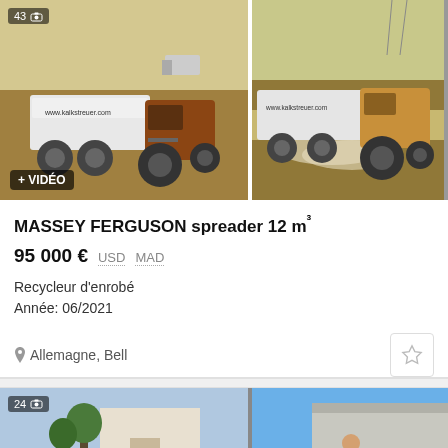[Figure (photo): Two photos side by side of a MASSEY FERGUSON lime spreader (www.kalkstreuer.com) being towed by a tractor across a field. Left photo has badge '43' with camera icon and '+ VIDÉO' button. Right photo shows spreader operating with dust cloud.]
MASSEY FERGUSON spreader 12 m³
95 000 € USD MAD
Recycleur d'enrobé
Année: 06/2021
Allemagne, Bell
[Figure (photo): Two partial photos side by side of agricultural machinery. Left photo shows '24' badge with camera icon and a green tractor with equipment near a building. Right photo shows a red tractor with yellow-vested operator near a building.]